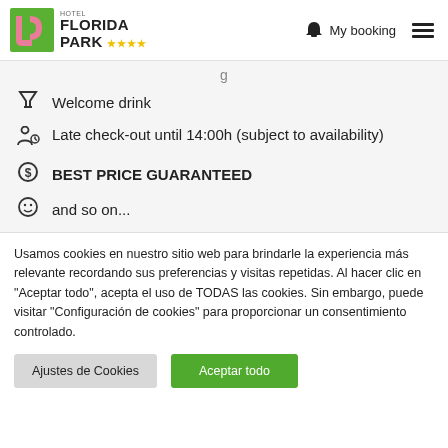Hotel Florida Park ★★★★ | My booking | Menu
Welcome drink
Late check-out until 14:00h (subject to availability)
BEST PRICE GUARANTEED
and so on...
Usamos cookies en nuestro sitio web para brindarle la experiencia más relevante recordando sus preferencias y visitas repetidas. Al hacer clic en "Aceptar todo", acepta el uso de TODAS las cookies. Sin embargo, puede visitar "Configuración de cookies" para proporcionar un consentimiento controlado.
Ajustes de Cookies | Aceptar todo